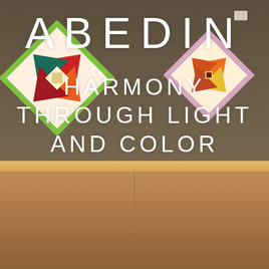[Figure (photo): Gallery interior photo showing a warm brown/tan wall with colorful geometric diamond-shaped paintings hung on it. One painting on the left has a green frame with red, orange, and teal diamond pattern; another on the right has a pink/lavender frame with orange and yellow diamond pattern. The floor reflects warm light. The lower half of the image shows tan/beige gallery floor panels.]
ABEDIN
HARMONY THROUGH LIGHT AND COLOR